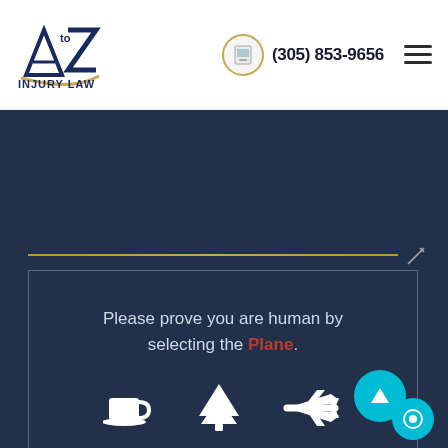[Figure (logo): A to Z Injury Law logo with stylized AZ letters and firm name]
(305) 853-9656
Please prove you are human by selecting the Plane.
[Figure (illustration): Three icons: coffee cup, tree, and airplane/plane]
SUBMIT